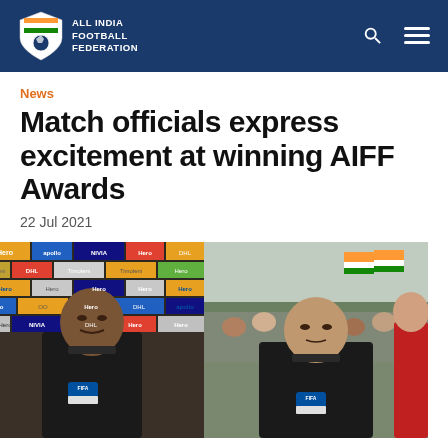ALL INDIA FOOTBALL FEDERATION
News
Match officials express excitement at winning AIFF Awards
22 Jul 2021
[Figure (photo): Two match officials (referees) in black uniforms wearing FIFA badges, photographed at a football event with sponsor banners in the background including Hero, Apollo, NIVIA, DHL, and Timoleni brands.]